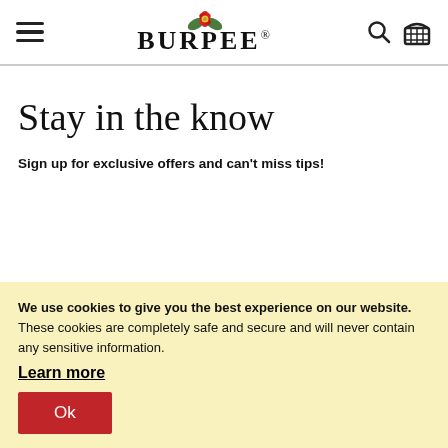Burpee (logo with hamburger menu, search, and basket icons)
Stay in the know
Sign up for exclusive offers and can't miss tips!
We use cookies to give you the best experience on our website. These cookies are completely safe and secure and will never contain any sensitive information.
Learn more
Ok